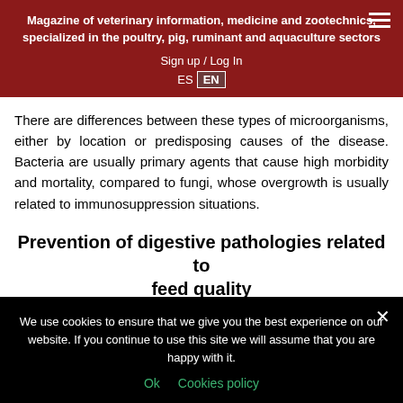Magazine of veterinary information, medicine and zootechnics, specialized in the poultry, pig, ruminant and aquaculture sectors
Sign up / Log In
ES EN
There are differences between these types of microorganisms, either by location or predisposing causes of the disease. Bacteria are usually primary agents that cause high morbidity and mortality, compared to fungi, whose overgrowth is usually related to immunosuppression situations.
Prevention of digestive pathologies related to feed quality
We use cookies to ensure that we give you the best experience on our website. If you continue to use this site we will assume that you are happy with it.